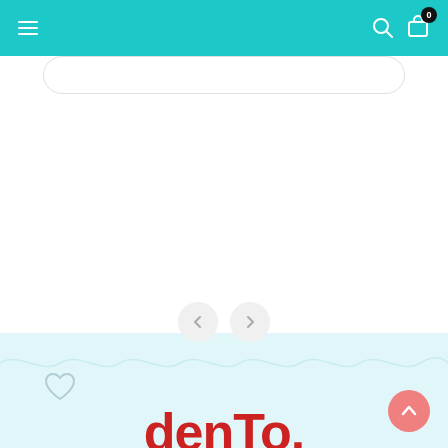Navigation bar with hamburger menu, search icon, and shopping cart with badge '0'
[Figure (screenshot): E-commerce website screenshot showing a teal/turquoise navigation bar at top with hamburger menu on left, search icon and shopping cart (badge: 0) on right. Below is a rounded search input bar. The main content area is white/blank. Navigation arrows (left and right) appear in the center. A wavy light blue footer section with a heart icon and partial brand logo text 'denTo.' in red/bold font. A salmon-colored scroll-to-top chevron button appears bottom right.]